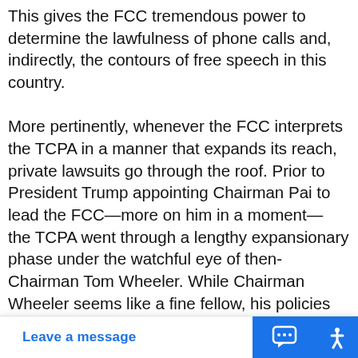This gives the FCC tremendous power to determine the lawfulness of phone calls and, indirectly, the contours of free speech in this country.

More pertinently, whenever the FCC interprets the TCPA in a manner that expands its reach, private lawsuits go through the roof. Prior to President Trump appointing Chairman Pai to lead the FCC—more on him in a moment— the TCPA went through a lengthy expansionary phase under the watchful eye of then-Chairman Tom Wheeler. While Chairman Wheeler seems like a fine fellow, his policies vastly expanded the reach of the TCPA to the point—as the D.C. Circuit points out in every smartphone i
Leave a message